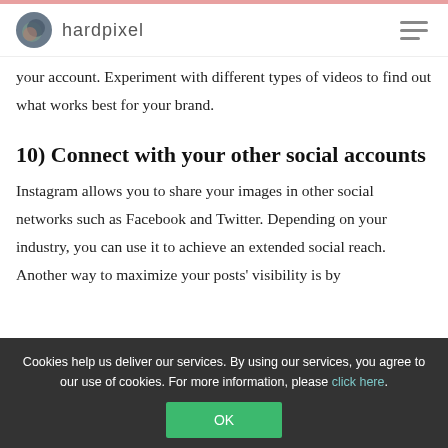hardpixel
your account. Experiment with different types of videos to find out what works best for your brand.
10) Connect with your other social accounts
Instagram allows you to share your images in other social networks such as Facebook and Twitter. Depending on your industry, you can use it to achieve an extended social reach. Another way to maximize your posts' visibility is by
Cookies help us deliver our services. By using our services, you agree to our use of cookies. For more information, please click here.